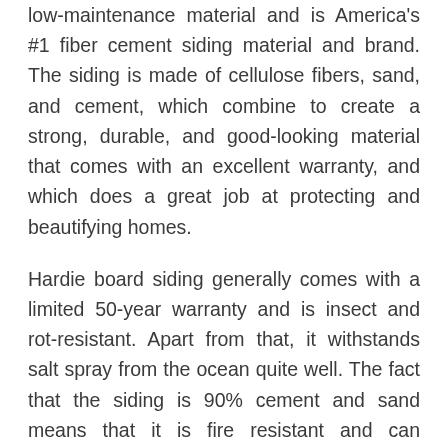low-maintenance material and is America's #1 fiber cement siding material and brand. The siding is made of cellulose fibers, sand, and cement, which combine to create a strong, durable, and good-looking material that comes with an excellent warranty, and which does a great job at protecting and beautifying homes.
Hardie board siding generally comes with a limited 50-year warranty and is insect and rot-resistant. Apart from that, it withstands salt spray from the ocean quite well. The fact that the siding is 90% cement and sand means that it is fire resistant and can withstand the harshest of weather.
How Much Does It